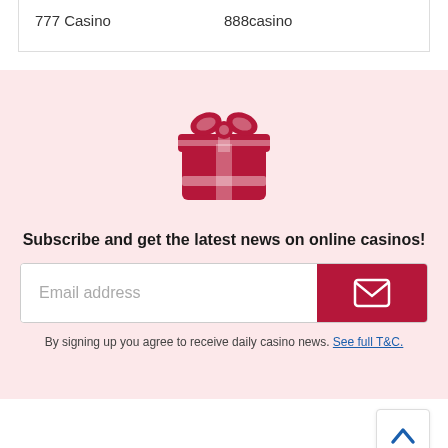| 777 Casino | 888casino |
[Figure (illustration): Red gift box icon with ribbon bow on top, on a pink background]
Subscribe and get the latest news on online casinos!
Email address [input field with red submit button showing envelope icon]
By signing up you agree to receive daily casino news. See full T&C.
[Figure (other): Back to top button with upward chevron arrow icon]
Please note: